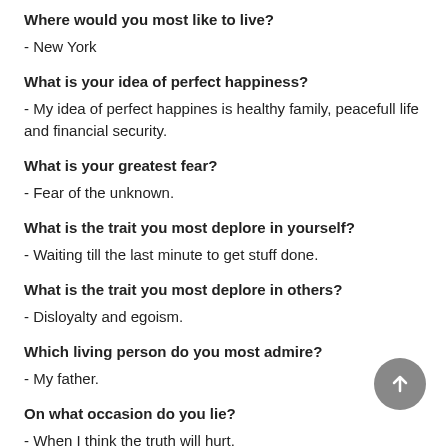Where would you most like to live?
- New York
What is your idea of perfect happiness?
- My idea of perfect happines is healthy family, peacefull life and financial security.
What is your greatest fear?
- Fear of the unknown.
What is the trait you most deplore in yourself?
- Waiting till the last minute to get stuff done.
What is the trait you most deplore in others?
- Disloyalty and egoism.
Which living person do you most admire?
- My father.
On what occasion do you lie?
- When I think the truth will hurt.
Which words or phrases do you most overuse?